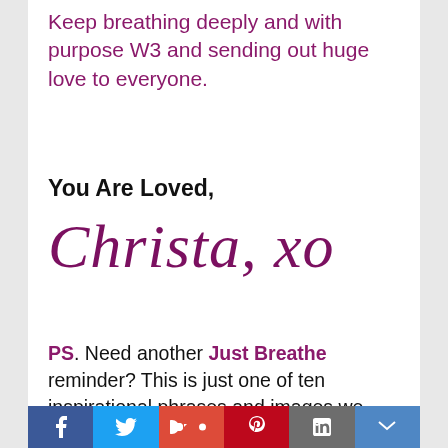Keep breathing deeply and with purpose W3 and sending out huge love to everyone.
You Are Loved,
[Figure (illustration): Handwritten script signature reading 'Christa, xo' in dark purple/maroon cursive font]
PS. Need another Just Breathe reminder? This is just one of ten inspirational phrases and images we have put together for you in a Wild and Wise collection. For $5 you get to download and print all 10 (yes, the entire collection for just $5) for your use, to give as gifts, to display in your
Social sharing bar with Facebook, Twitter, Google+, Pinterest, LinkedIn, and other icons